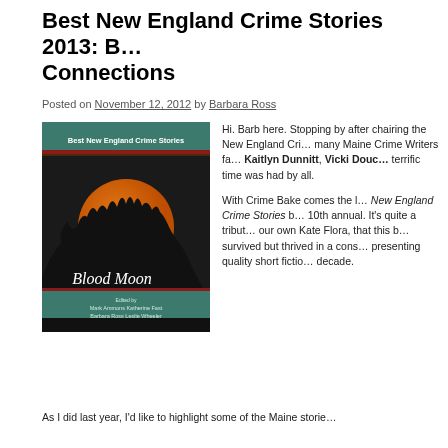Best New England Crime Stories 2013: B… Connections
Posted on November 12, 2012 by Barbara Ross
[Figure (photo): Book cover of 'Best New England Crime Stories: Blood Moon' edited by Mark Ammons, Katherine Fast, Barbara Ross, Leslie Wheeler. Dark cover with large orange moon over silhouetted trees.]
Hi. Barb here. Stopping by after chairing the New England Cri… many Maine Crime Writers fa… Kaitlyn Dunnitt, Vicki Douc… terrific time was had by all.

With Crime Bake comes the l… New England Crime Stories b… 10th annual. It's quite a tribute… our own Kate Flora, that this b… survived but thrived in a cons… presenting quality short fictio… decade.
As I did last year, I'd like to highlight some of the Maine storie…